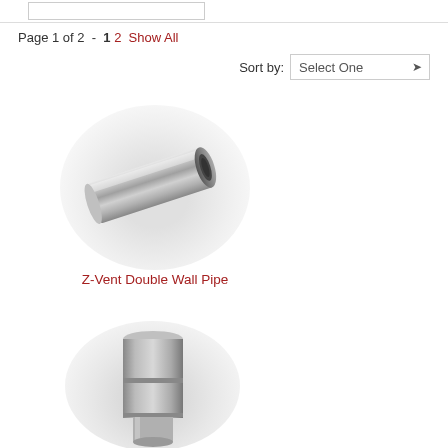Page 1 of 2 - 1 2 Show All
Sort by: Select One
[Figure (photo): Z-Vent Double Wall Pipe product photo showing a metallic cylindrical pipe at an angle]
Z-Vent Double Wall Pipe
[Figure (photo): Second product photo showing a vertical metallic cylindrical connector/pipe fitting]